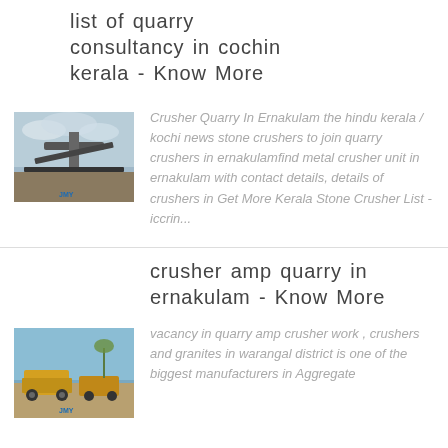list of quarry consultancy in cochin kerala - Know More
[Figure (photo): Quarry crusher machinery with conveyor belts against cloudy sky]
Crusher Quarry In Ernakulam the hindu kerala / kochi news stone crushers to join quarry crushers in ernakulamfind metal crusher unit in ernakulam with contact details, details of crushers in Get More Kerala Stone Crusher List - iccrin...
crusher amp quarry in ernakulam - Know More
[Figure (photo): Quarry site with yellow machinery and trucks against blue sky]
vacancy in quarry amp crusher work , crushers and granites in warangal district is one of the biggest manufacturers in Aggregate